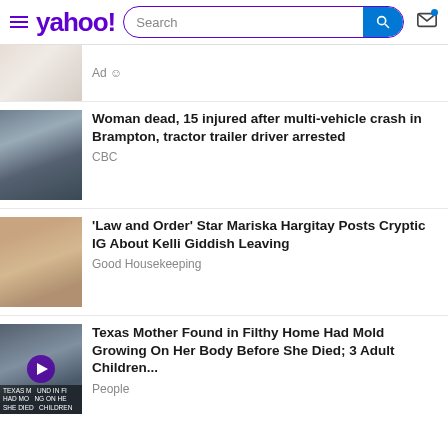yahoo! [search bar] [mail icon]
Ad
Woman dead, 15 injured after multi-vehicle crash in Brampton, tractor trailer driver arrested — CBC
'Law and Order' Star Mariska Hargitay Posts Cryptic IG About Kelli Giddish Leaving — Good Housekeeping
Texas Mother Found in Filthy Home Had Mold Growing On Her Body Before She Died; 3 Adult Children... — People